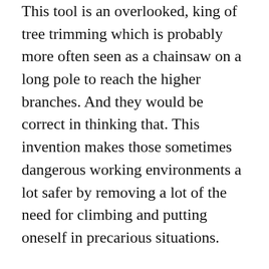This tool is an overlooked, king of tree trimming which is probably more often seen as a chainsaw on a long pole to reach the higher branches. And they would be correct in thinking that. This invention makes those sometimes dangerous working environments a lot safer by removing a lot of the need for climbing and putting oneself in precarious situations.
Taking a look at the current industry, there are a lot of different options to choose from with several gas, and electric based which each come with their own benefits according to polesawpicks.com.
You also have plenty of choice in brands, with